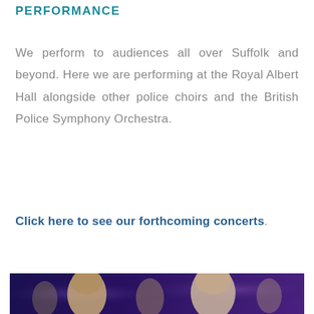PERFORMANCE
We perform to audiences all over Suffolk and beyond. Here we are performing at the Royal Albert Hall alongside other police choirs and the British Police Symphony Orchestra.
Click here to see our forthcoming concerts.
[Figure (photo): Photo of performers on stage with dramatic purple/blue lighting, showing faces of choir members]